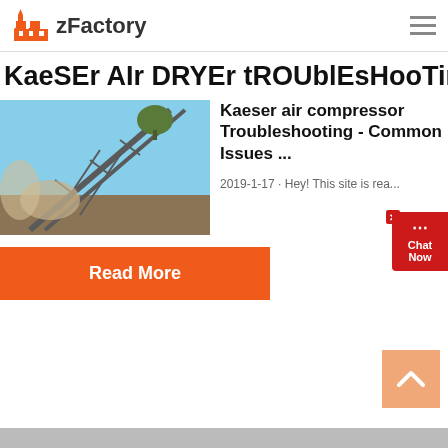zFactory
KaeSEr AIr DRYEr tROUblEsHooTinG
[Figure (photo): Industrial conveyor belt structure against blue sky with dust]
Kaeser air compressor Troubleshooting - Common Issues ...
2019-1-17 · Hey! This site is rea...
Read More